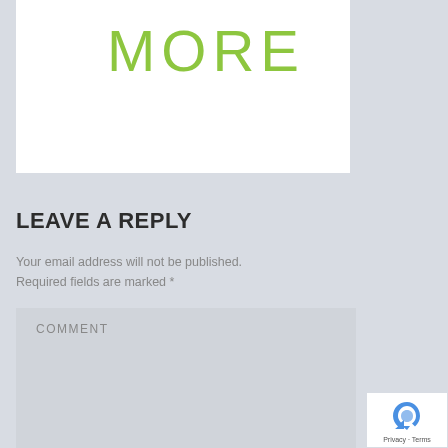[Figure (other): White card with 'MORE' text in green]
LEAVE A REPLY
Your email address will not be published. Required fields are marked *
COMMENT
[Figure (other): reCAPTCHA badge with Privacy and Terms links]